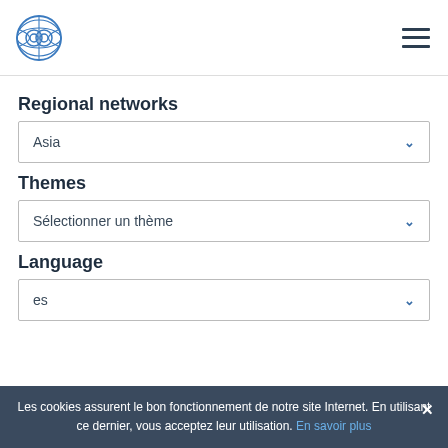Logo and navigation menu
Regional networks
Asia
Themes
Sélectionner un thème
Language
es
Les cookies assurent le bon fonctionnement de notre site Internet. En utilisant ce dernier, vous acceptez leur utilisation. En savoir plus